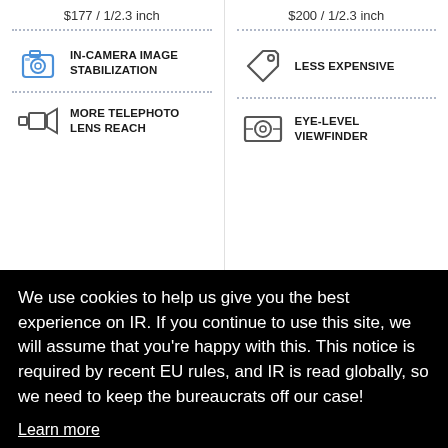$177 / 1/2.3 inch
$200 / 1/2.3 inch
IN-CAMERA IMAGE STABILIZATION
LESS EXPENSIVE
MORE TELEPHOTO LENS REACH
EYE-LEVEL VIEWFINDER
We use cookies to help us give you the best experience on IR. If you continue to use this site, we will assume that you're happy with this. This notice is required by recent EU rules, and IR is read globally, so we need to keep the bureaucrats off our case!
Learn more
Got it!
$134 / 1/2.3 inch
$200 / 1/2.3 inch